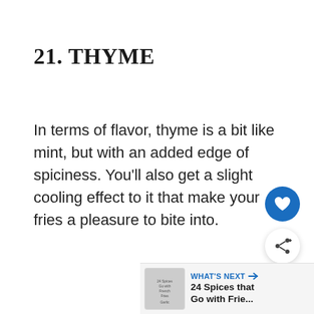21. THYME
In terms of flavor, thyme is a bit like mint, but with an added edge of spiciness. You'll also get a slight cooling effect to it that make your fries a pleasure to bite into.
[Figure (other): Blue circular heart/favorite button icon]
[Figure (other): White circular share button icon with share symbol]
[Figure (other): What's Next navigation bar with thumbnail and text '24 Spices that Go with Frie...']